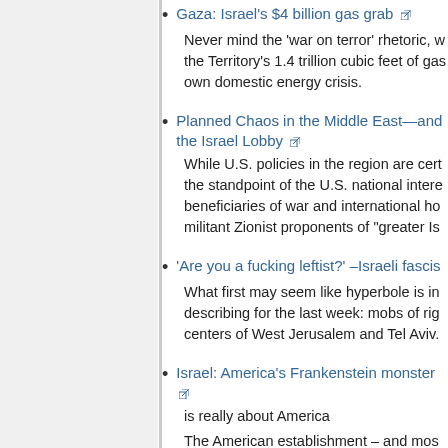Gaza: Israel's $4 billion gas grab
Planned Chaos in the Middle East—and... the Israel Lobby
'Are you a fucking leftist?' –Israeli fascis...
Israel: America's Frankenstein monster...